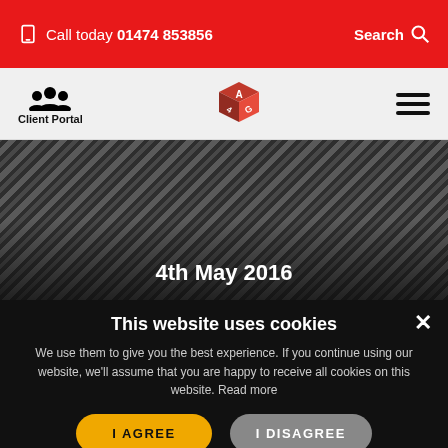Call today 01474 853856 | Search
[Figure (logo): Client Portal people icon and text, AG branded dice logo, hamburger menu icon]
[Figure (illustration): Dark diagonal striped hero banner with date '4th May 2016' overlaid]
This website uses cookies
We use them to give you the best experience. If you continue using our website, we'll assume that you are happy to receive all cookies on this website. Read more